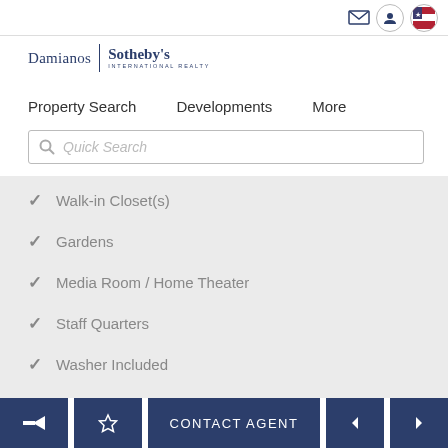[Figure (screenshot): Top navigation icons: envelope/mail icon, user profile circle icon, US flag circle icon]
[Figure (logo): Damianos | Sotheby's International Realty logo]
Property Search    Developments    More
Quick Search (search bar with magnifying glass icon)
Walk-in Closet(s)
Gardens
Media Room / Home Theater
Staff Quarters
Washer Included
← (back) ☆ (favorite) CONTACT AGENT ◄ ►